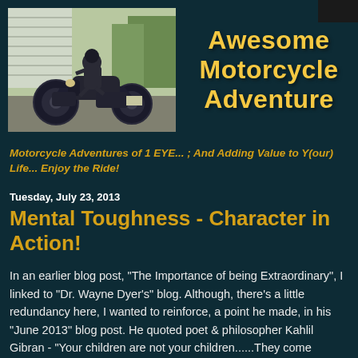[Figure (photo): Photograph of a motorcyclist on a large touring motorcycle, outdoor setting]
Awesome Motorcycle Adventure
Motorcycle Adventures of 1 EYE... ; And Adding Value to Y(our) Life... Enjoy the Ride!
Tuesday, July 23, 2013
Mental Toughness - Character in Action!
In an earlier blog post, "The Importance of being Extraordinary", I linked to "Dr. Wayne Dyer's" blog. Although, there's a little redundancy here, I wanted to reinforce, a point he made, in his "June 2013" blog post. He quoted poet & philosopher Kahlil Gibran - "Your children are not your children......They come through you, but not from